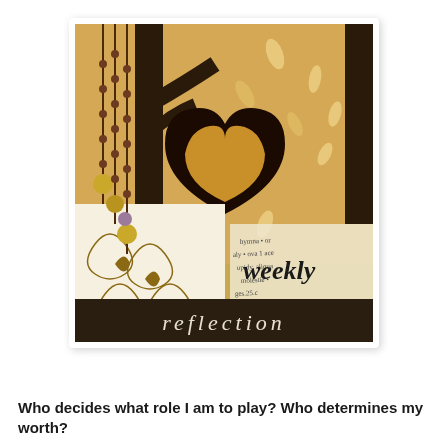[Figure (illustration): A decorative collage image with warm gold and brown tones showing two hands forming a heart shape (silhouetted), beaded jewelry strands hanging on the left, patterned decorative paper backgrounds, text snippets, and cursive text reading 'weekly reflection' on a dark brown banner at the bottom.]
Who decides what role I am to play? Who determines my worth?